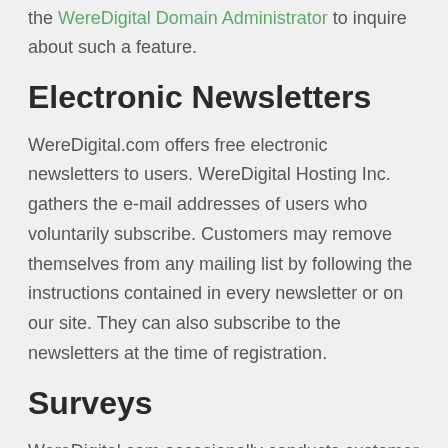the WereDigital Domain Administrator to inquire about such a feature.
Electronic Newsletters
WereDigital.com offers free electronic newsletters to users. WereDigital Hosting Inc. gathers the e-mail addresses of users who voluntarily subscribe. Customers may remove themselves from any mailing list by following the instructions contained in every newsletter or on our site. They can also subscribe to the newsletters at the time of registration.
Surveys
WereDigital.com occasionally conducts customer surveys to better target our content and product